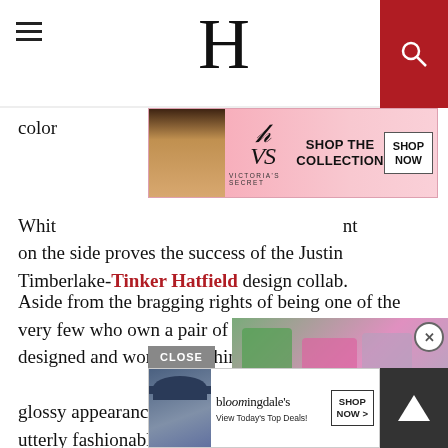H (logo header with hamburger menu and search)
[Figure (advertisement): Victoria's Secret advertisement banner: 'SHOP THE COLLECTION' with 'SHOP NOW' button and VS logo]
color... White... nt on the side proves the success of the Justin Timberlake-Tinker Hatfield design collab.
Aside from the bragging rights of being one of the very few who own a pair of the limited-edition shoes designed and worn by JT him... glossy appearance of the pai... utterly fashionable. The slee... with a cozy interior as well, c... edition insole with Hatfield's signature.
[Figure (photo): Video thumbnail showing fashion runway models in colorful outfits (green, pink, plaid) with a play button overlay]
Cons
On th... asy look... es
[Figure (advertisement): Bloomingdale's advertisement: 'View Today's Top Deals!' with 'SHOP NOW >' button. CLOSE button bar above.]